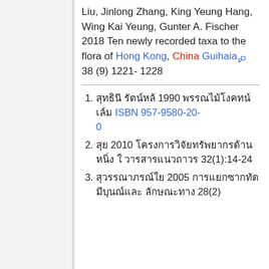Liu, Jinlong Zhang, King Yeung Hang, Wing Kai Yeung, Gunter A. Fischer 2018 Ten newly recorded taxa to the flora of Hong Kong, China Guihaia 38 (9) 1221-1228
1. [Thai text] 1990 [Thai text] ISBN 957-9580-20-0
2. [Thai text] 2010 [Thai text] 32(1):14-24
3. [Thai text] 2005 [Thai text] 28(2)